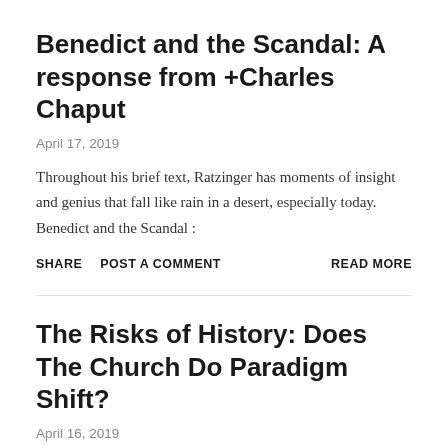Benedict and the Scandal: A response from +Charles Chaput
April 17, 2019
Throughout his brief text, Ratzinger has moments of insight and genius that fall like rain in a desert, especially today. Benedict and the Scandal :
SHARE   POST A COMMENT   READ MORE
The Risks of History: Does The Church Do Paradigm Shift?
April 16, 2019